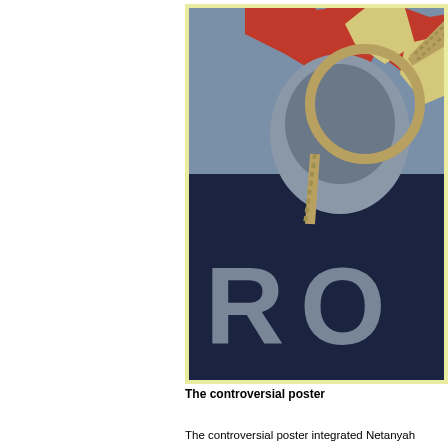[Figure (illustration): A cropped political poster styled like the Obama 'Hope' poster showing a figure with a noose, with the partial text 'RO' visible at the bottom, in dark navy, red, and grey tones.]
The controversial poster
The controversial poster integrated Netanyahu former US President Barack Obama's campa...